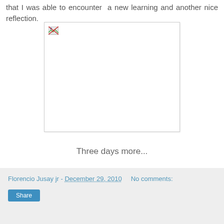that I was able to encounter a new learning and another nice reflection.
[Figure (photo): Broken image placeholder — image failed to load, shown as a white rectangle with a broken image icon in the top-left corner]
Three days more...
Florencio Jusay jr - December 29, 2010   No comments: